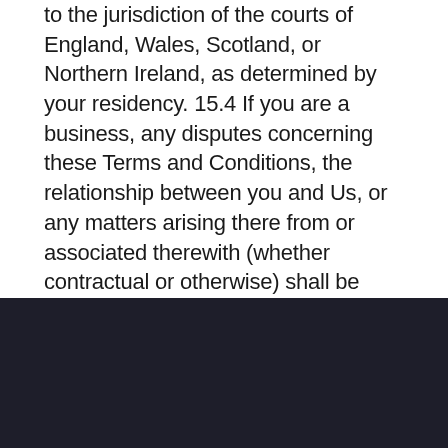to the jurisdiction of the courts of England, Wales, Scotland, or Northern Ireland, as determined by your residency. 15.4 If you are a business, any disputes concerning these Terms and Conditions, the relationship between you and Us, or any matters arising there from or associated therewith (whether contractual or otherwise) shall be subject to the exclusive jurisdiction of the courts of England & Wales.